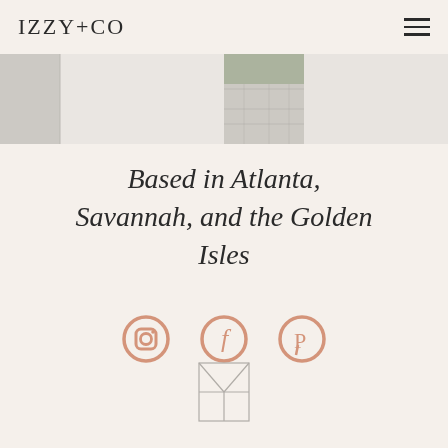IZZY+CO
[Figure (photo): Two wedding/editorial photos side by side: left photo shows a light grey background with partial fabric, right photo shows cobblestone ground with white bridal veil]
Based in Atlanta, Savannah, and the Golden Isles
[Figure (infographic): Three social media icons: Instagram, Facebook, Pinterest in muted pink/rose color]
[Figure (logo): Small geometric brand mark / logo at bottom center, outline square with diagonal lines forming a Y or cross shape]